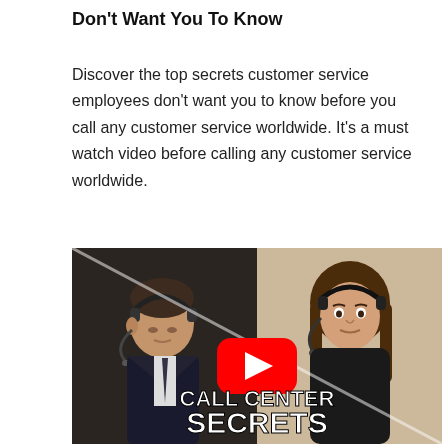Don't Want You To Know
Discover the top secrets customer service employees don't want you to know before you call any customer service worldwide. It's a must watch video before calling any customer service worldwide.
[Figure (screenshot): YouTube video thumbnail showing two people wearing headsets in a call center setting. Left side shows a man in a suit looking down; right side shows a woman looking forward. A YouTube play button is centered. Text overlay reads 'CALL CENTER SECRETS'.]